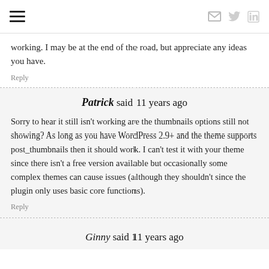Navigation header with hamburger menu and social icons
working. I may be at the end of the road, but appreciate any ideas you have.
Reply
Patrick said 11 years ago
Sorry to hear it still isn't working are the thumbnails options still not showing? As long as you have WordPress 2.9+ and the theme supports post_thumbnails then it should work. I can't test it with your theme since there isn't a free version available but occasionally some complex themes can cause issues (although they shouldn't since the plugin only uses basic core functions).
Reply
Ginny said 11 years ago